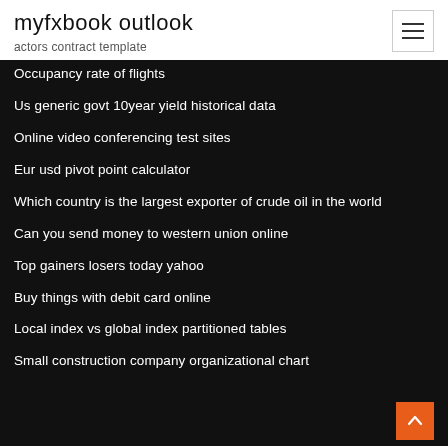myfxbook outlook
actors contract template
Occupancy rate of flights
Us generic govt 10year yield historical data
Online video conferencing test sites
Eur usd pivot point calculator
Which country is the largest exporter of crude oil in the world
Can you send money to western union online
Top gainers losers today yahoo
Buy things with debit card online
Local index vs global index partitioned tables
Small construction company organizational chart